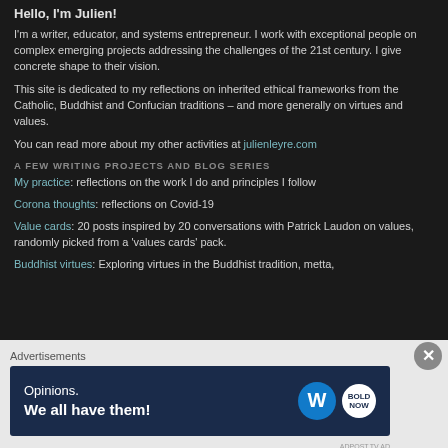Hello, I'm Julien!
I'm a writer, educator, and systems entrepreneur. I work with exceptional people on complex emerging projects addressing the challenges of the 21st century. I give concrete shape to their vision.
This site is dedicated to my reflections on inherited ethical frameworks from the Catholic, Buddhist and Confucian traditions – and more generally on virtues and values.
You can read more about my other activities at julienleyre.com
A FEW WRITING PROJECTS AND BLOG SERIES
My practice: reflections on the work I do and principles I follow
Corona thoughts: reflections on Covid-19
Value cards: 20 posts inspired by 20 conversations with Patrick Laudon on values, randomly picked from a 'values cards' pack.
Buddhist virtues: Exploring virtues in the Buddhist tradition, metta,
Advertisements
[Figure (screenshot): Advertisement banner: 'Opinions. We all have them!' with WordPress and Bold logos on dark navy background]